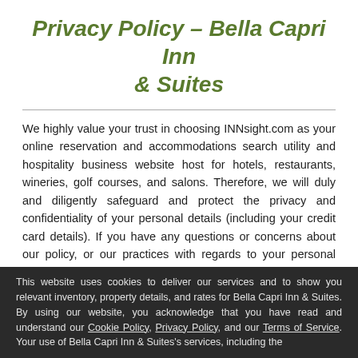Privacy Policy – Bella Capri Inn & Suites
We highly value your trust in choosing INNsight.com as your online reservation and accommodations search utility and hospitality business website host for hotels, restaurants, wineries, golf courses, and salons. Therefore, we will duly and diligently safeguard and protect the privacy and confidentiality of your personal details (including your credit card details). If you have any questions or concerns about our policy, or our practices with regards to your personal information, please contact us at legal@innsight.com.
When you visit our website(s) and use our services, you trust
This website uses cookies to deliver our services and to show you relevant inventory, property details, and rates for Bella Capri Inn & Suites. By using our website, you acknowledge that you have read and understand our Cookie Policy, Privacy Policy, and our Terms of Service. Your use of Bella Capri Inn & Suites's services, including the